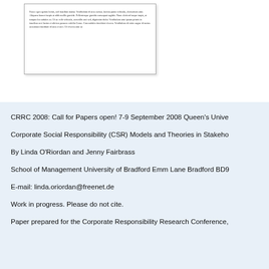[Figure (other): Thumbnail image of a document page showing Lorem Ipsum placeholder text in a small paper preview]
CRRC 2008: Call for Papers open! 7-9 September 2008 Queen's University Belfast
Corporate Social Responsibility (CSR) Models and Theories in Stakeholder
By Linda O'Riordan and Jenny Fairbrass
School of Management University of Bradford Emm Lane Bradford BD9
E-mail: linda.oriordan@freenet.de
Work in progress. Please do not cite.
Paper prepared for the Corporate Responsibility Research Conference,